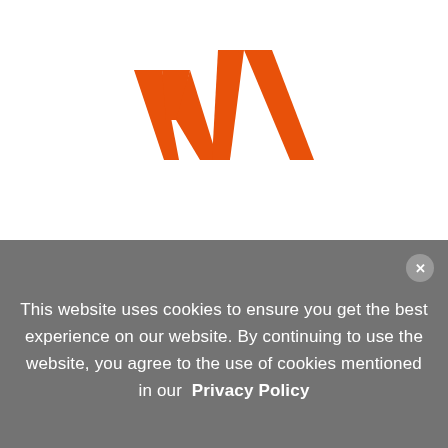[Figure (logo): Westpac bank logo — stylized orange W made of angular chevron shapes on white background]
This website uses cookies to ensure you get the best experience on our website. By continuing to use the website, you agree to the use of cookies mentioned in our  Privacy Policy